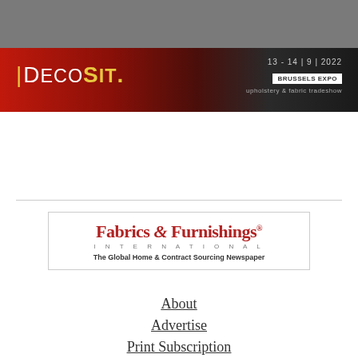[Figure (illustration): Grey top bar background element]
[Figure (illustration): DecoSit banner ad: upholstery & fabric tradeshow, 13-14|9|2022 Brussels Expo, with red fabric background]
[Figure (logo): Fabrics & Furnishings International logo box with tagline 'The Global Home & Contract Sourcing Newspaper']
About
Advertise
Print Subscription